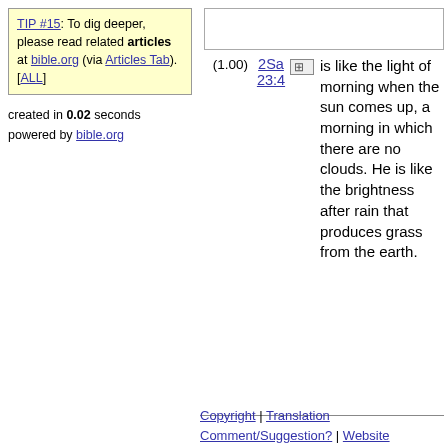TIP #15: To dig deeper, please read related articles at bible.org (via Articles Tab). [ALL]
created in 0.02 seconds
powered by bible.org
[Figure (other): Empty white box at top right]
(1.00)  2Sa 23:4  [+] is like the light of morning when the sun comes up, a morning in which there are no clouds. He is like the brightness after rain that produces grass from the earth.
Copyright | Translation Comment/Suggestion? | Website